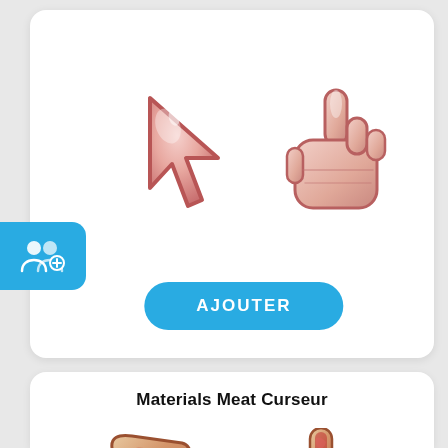[Figure (illustration): Two meat-themed cursor icons: an arrow cursor and a pointer/hand cursor, both rendered in a fleshy pink/rose style with dark red outlines on a white card background.]
[Figure (illustration): Blue rounded rectangle button with white bold uppercase text 'AJOUTER']
[Figure (illustration): Blue tab/badge on the left edge with a group-add icon (two people silhouettes with a plus sign) in white.]
Materials Meat Curseur
[Figure (illustration): Two meat-themed cursor icons partially visible at the bottom: a steak/meat arrow cursor and a meat pointer/hand cursor, rendered in a realistic meaty style with red muscle and beige skin tones.]